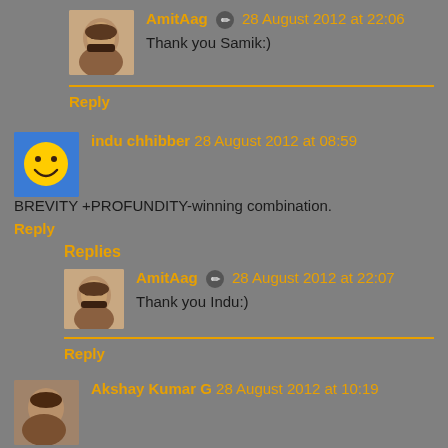[Figure (photo): Avatar photo of AmitAag, man with mustache]
AmitAag 🔏 28 August 2012 at 22:06
Thank you Samik:)
Reply
[Figure (illustration): Smiley face avatar on blue background for indu chhibber]
indu chhibber 28 August 2012 at 08:59
BREVITY +PROFUNDITY-winning combination.
Reply
Replies
[Figure (photo): Avatar photo of AmitAag, man with mustache]
AmitAag 🔏 28 August 2012 at 22:07
Thank you Indu:)
Reply
[Figure (photo): Avatar photo of Akshay Kumar G]
Akshay Kumar G 28 August 2012 at 10:19